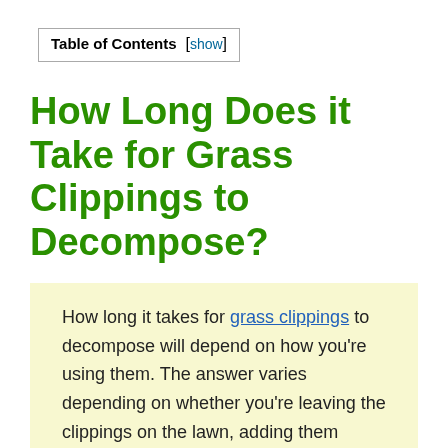Table of Contents [show]
How Long Does it Take for Grass Clippings to Decompose?
How long it takes for grass clippings to decompose will depend on how you're using them. The answer varies depending on whether you're leaving the clippings on the lawn, adding them